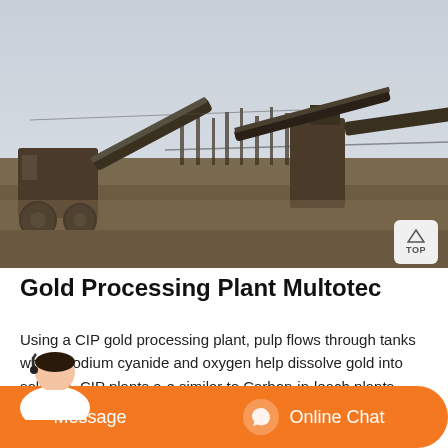[Figure (photo): Outdoor industrial gold processing plant showing heavy machinery including crushers and conveyor belts on a barren landscape with trees and overcast sky in background]
Gold Processing Plant Multotec
Using a CIP gold processing plant, pulp flows through tanks where sodium cyanide and oxygen help dissolve gold into solution. CIP plants are similar to Carbon-in-leach plants. Carbon-in-leach CIL is a process of